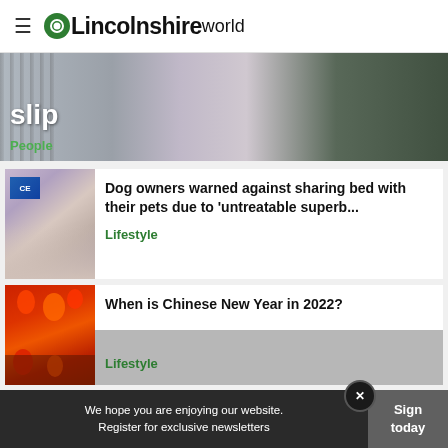OLincolnshireWorld
[Figure (photo): Partial hero image showing text 'slip' and 'People' tag with a person in a purple shirt and background greenery]
[Figure (photo): Article card: Dog on a bed watching TV. Headline: Dog owners warned against sharing bed with their pets due to 'untreatable superb...' Category: Lifestyle]
[Figure (photo): Article card: Chinese red lanterns. Headline: When is Chinese New Year in 2022? Category: Lifestyle]
We hope you are enjoying our website. Register for exclusive newsletters
Sign today